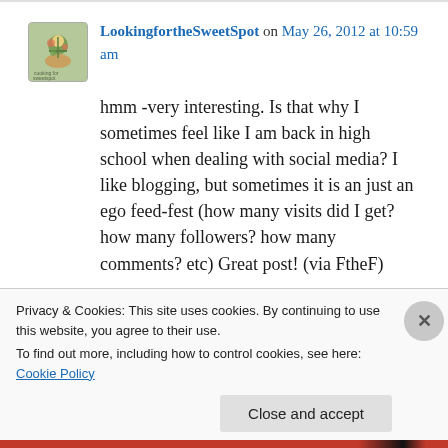LookingfortheSweetSpot on May 26, 2012 at 10:59 am
hmm -very interesting. Is that why I sometimes feel like I am back in high school when dealing with social media? I like blogging, but sometimes it is an just an ego feed-fest (how many visits did I get? how many followers? how many comments? etc) Great post! (via FtheF)
Privacy & Cookies: This site uses cookies. By continuing to use this website, you agree to their use.
To find out more, including how to control cookies, see here: Cookie Policy
Close and accept